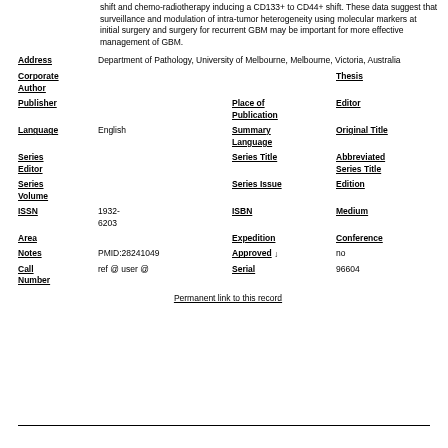shift and chemo-radiotherapy inducing a CD133+ to CD44+ shift. These data suggest that surveillance and modulation of intra-tumor heterogeneity using molecular markers at initial surgery and surgery for recurrent GBM may be important for more effective management of GBM.
Address: Department of Pathology, University of Melbourne, Melbourne, Victoria, Australia
Corporate Author
Thesis
Publisher
Place of Publication
Editor
Language: English
Summary Language
Original Title
Series Editor
Series Title
Abbreviated Series Title
Series Volume
Series Issue
Edition
ISSN: 1932-6203
ISBN
Medium
Area
Expedition
Conference
Notes: PMID:28241049
Approved: no
Call Number: ref @ user @
Serial: 96604
Permanent link to this record